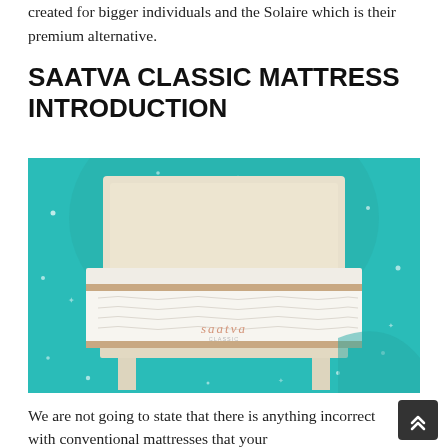created for bigger individuals and the Solaire which is their premium alternative.
SAATVA CLASSIC MATTRESS INTRODUCTION
[Figure (photo): Photo of a Saatva Classic mattress on a beige bed frame against a teal background with scattered white star/dot decorations. The mattress is white with wavy stitching and a tan border trim, with the 'saatva' logo visible on the side.]
We are not going to state that there is anything incorrect with conventional mattresses that your